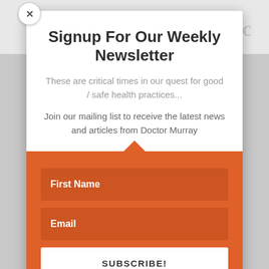[Figure (logo): DoctorMurray.com website logo with green plant/flower icon partially visible behind modal]
Signup For Our Weekly Newsletter
These are critical times in our quest for good / safe health practices...
Join our mailing list to receive the latest news and articles from Doctor Murray
First Name
Email
SUBSCRIBE!